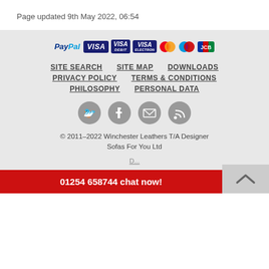Page updated 9th May 2022, 06:54
[Figure (logo): Payment method logos: PayPal, VISA, VISA Debit, VISA Electron, Mastercard, Maestro, JCB]
SITE SEARCH
SITE MAP
DOWNLOADS
PRIVACY POLICY
TERMS & CONDITIONS
PHILOSOPHY
PERSONAL DATA
[Figure (illustration): Social media icons: Twitter, Facebook, Email, RSS feed]
© 2011–2022 Winchester Leathers T/A Designer Sofas For You Ltd
01254 658744 chat now!